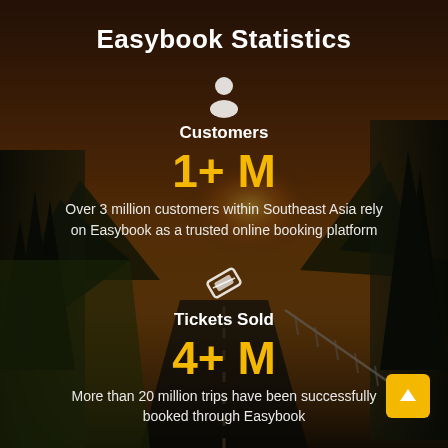Easybook Statistics
[Figure (infographic): Person/customer icon (white silhouette)]
Customers
1+ M
Over 3 million customers within Southeast Asia rely on Easybook as a trusted online booking platform
[Figure (infographic): Ticket icon (white rotated ticket)]
Tickets Sold
4+ M
More than 20 million trips have been successfully booked through Easybook